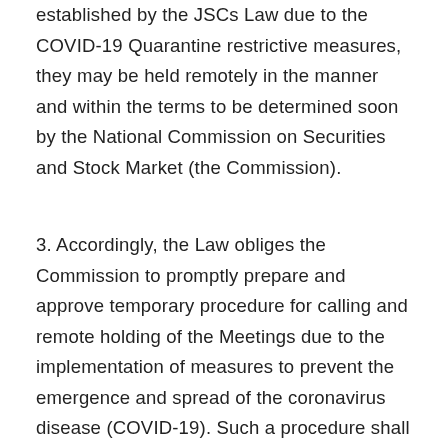established by the JSCs Law due to the COVID-19 Quarantine restrictive measures, they may be held remotely in the manner and within the terms to be determined soon by the National Commission on Securities and Stock Market (the Commission).
3. Accordingly, the Law obliges the Commission to promptly prepare and approve temporary procedure for calling and remote holding of the Meetings due to the implementation of measures to prevent the emergence and spread of the coronavirus disease (COVID-19). Such a procedure shall not be subject to